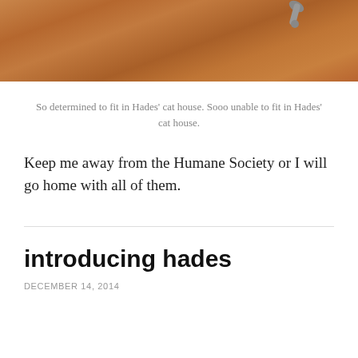[Figure (photo): Cropped photo of a cat or cat's tail/paw on a warm brown wood floor, top portion of image visible]
So determined to fit in Hades' cat house. Sooo unable to fit in Hades' cat house.
Keep me away from the Humane Society or I will go home with all of them.
introducing hades
DECEMBER 14, 2014